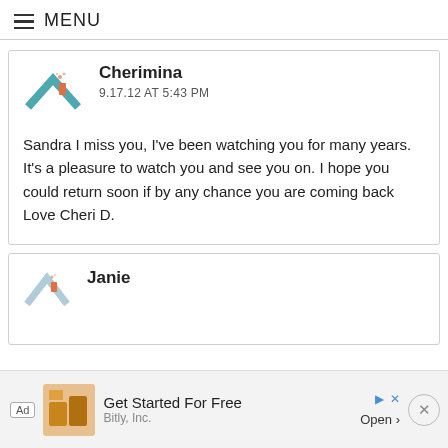MENU
Cherimina
9.17.12 AT 5:43 PM

Sandra I miss you, I've been watching you for many years. It's a pleasure to watch you and see you on. I hope you could return soon if by any chance you are coming back
Love Cheri D.
Janie
Ad  Get Started For Free  Bitly, Inc.  Open